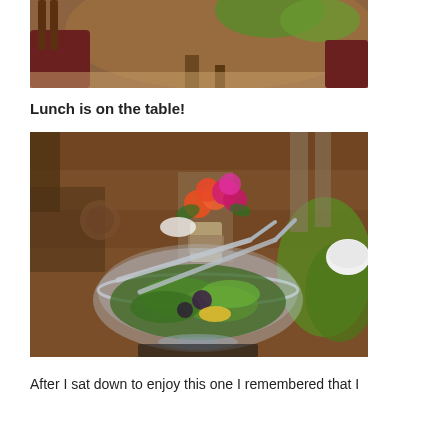[Figure (photo): Top portion of a photo showing a round wooden dining table with green leaf-shaped placemats and maroon/red chairs in what appears to be a dining room.]
Lunch is on the table!
[Figure (photo): A large glass bowl filled with a green salad with silver serving tongs, placed on a wooden dining table. In the background is a bouquet of orange and pink flowers in a mason jar wrapped with burlap, green leaf placemats, and a white bowl to the right.]
After I sat down to enjoy this one I remembered that I